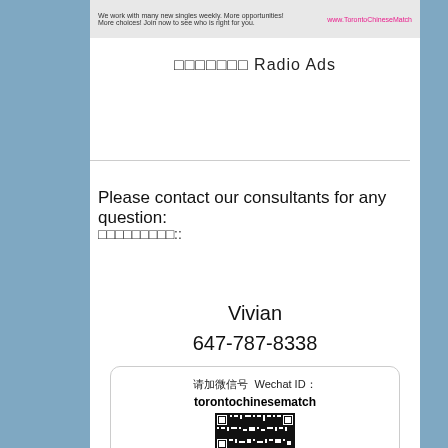[Figure (screenshot): Top banner with website ad for TorontoChineseMatch, showing text about weekly matchmaking opportunities and URL www.TorontoChinesematch]
□□□□□□□ Radio Ads
Please contact our consultants for any question:
□□□□□□□□□::
Vivian
647-787-8338
[Figure (infographic): WeChat ID box with text: 请加微信号 Wechat ID: torontochinesematch and a QR code below]